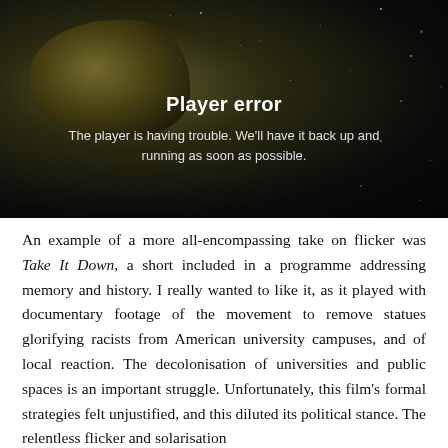[Figure (screenshot): Video player error screen with dark space-like background showing a rock/asteroid and stars, displaying 'Player error' title and message 'The player is having trouble. We'll have it back up and running as soon as possible.']
An example of a more all-encompassing take on flicker was Take It Down, a short included in a programme addressing memory and history. I really wanted to like it, as it played with documentary footage of the movement to remove statues glorifying racists from American university campuses, and of local reaction. The decolonisation of universities and public spaces is an important struggle. Unfortunately, this film's formal strategies felt unjustified, and this diluted its political stance. The relentless flicker and solarisation